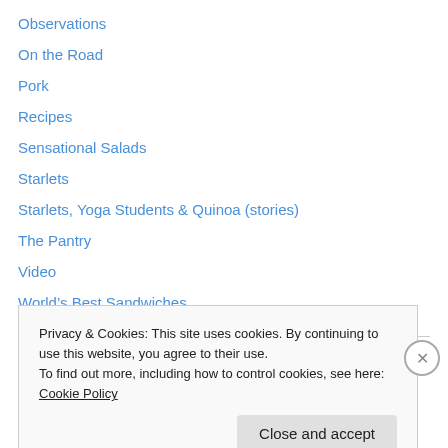Observations
On the Road
Pork
Recipes
Sensational Salads
Starlets
Starlets, Yoga Students & Quinoa (stories)
The Pantry
Video
World's Best Sandwiches
Pages
Privacy & Cookies: This site uses cookies. By continuing to use this website, you agree to their use.
To find out more, including how to control cookies, see here: Cookie Policy